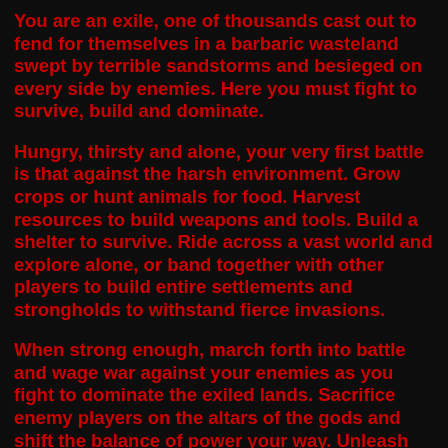You are an exile, one of thousands cast out to fend for themselves in a barbaric wasteland swept by terrible sandstorms and besieged on every side by enemies. Here you must fight to survive, build and dominate.
Hungry, thirsty and alone, your very first battle is that against the harsh environment. Grow crops or hunt animals for food. Harvest resources to build weapons and tools. Build a shelter to survive. Ride across a vast world and explore alone, or band together with other players to build entire settlements and strongholds to withstand fierce invasions.
When strong enough, march forth into battle and wage war against your enemies as you fight to dominate the exiled lands. Sacrifice enemy players on the altars of the gods and shift the balance of power your way. Unleash your fury in savage, fast-paced combat and execute bloody and bone-crushing attacks